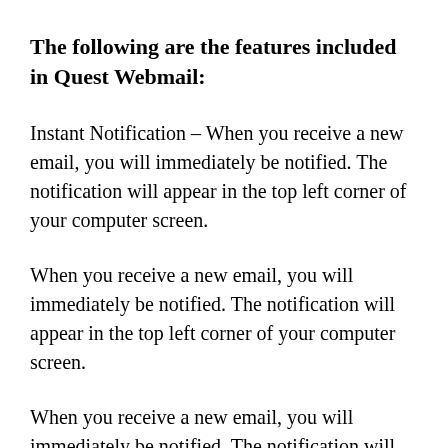The following are the features included in Quest Webmail:
Instant Notification – When you receive a new email, you will immediately be notified. The notification will appear in the top left corner of your computer screen.
When you receive a new email, you will immediately be notified. The notification will appear in the top left corner of your computer screen.
When you receive a new email, you will immediately be notified. The notification will